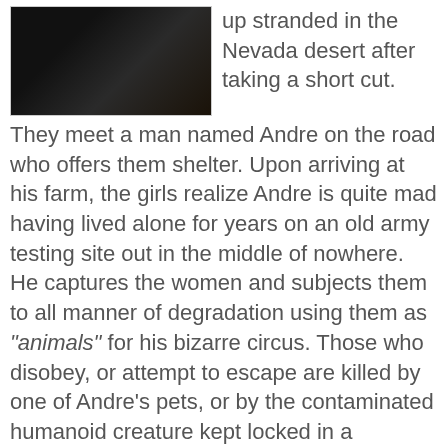[Figure (photo): Dark scene photo, appears to show a person in low lighting]
up stranded in the Nevada desert after taking a short cut. They meet a man named Andre on the road who offers them shelter. Upon arriving at his farm, the girls realize Andre is quite mad having lived alone for years on an old army testing site out in the middle of nowhere. He captures the women and subjects them to all manner of degradation using them as "animals" for his bizarre circus. Those who disobey, or attempt to escape are killed by one of Andre's pets, or by the contaminated humanoid creature kept locked in a storeroom nearby.
[Figure (photo): Outdoor scene showing a person or figure, partial view from below]